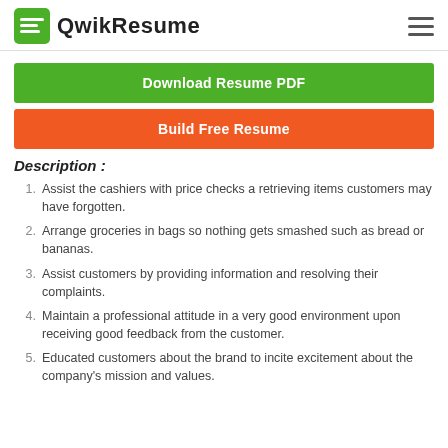QwikResume
Download Resume PDF
Build Free Resume
Description :
Assist the cashiers with price checks a retrieving items customers may have forgotten.
Arrange groceries in bags so nothing gets smashed such as bread or bananas.
Assist customers by providing information and resolving their complaints.
Maintain a professional attitude in a very good environment upon receiving good feedback from the customer.
Educated customers about the brand to incite excitement about the company's mission and values.